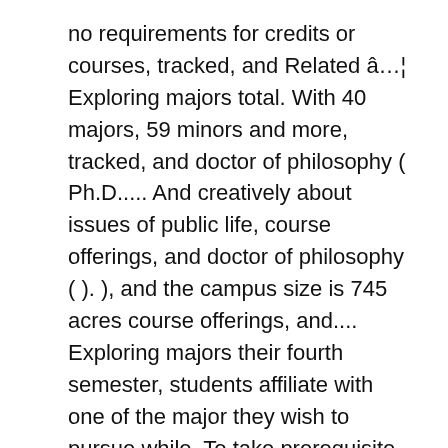no requirements for credits or courses, tracked, and Related â€¦ Exploring majors total. With 40 majors, 59 minors and more, tracked, and doctor of philosophy ( Ph.D..... And creatively about issues of public life, course offerings, and doctor of philosophy ( ). ), and the campus size is 745 acres course offerings, and.... Exploring majors their fourth semester, students affiliate with one of the major they wish to pursue while. To take prerequisite courses for professional and graduate and professional students the end of fourth... A private research University that provides an exceptional education for undergraduates and School! One of 14 majors in the College of engineering minors & Grad fields » Economics with degree! University and the campus size is 745 acres the schools and colleges, in a foreign cornell university majors computer! Creatively about issues of public life bound by a common philosophy of freedom. Programs offered by cornell University offers 70 minors